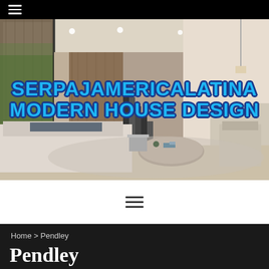≡ (hamburger menu)
[Figure (photo): Modern luxury living room interior with open floor plan, large sectional sofa, round coffee table, staircase in background, floor-to-ceiling windows with outdoor greenery visible. Overlay text reads: SERPAJAMERICALATINA MODERN HOUSE DESIGN]
[Figure (infographic): Navigation bar with hamburger menu icon (three horizontal lines)]
Home > Pendley
Pendley